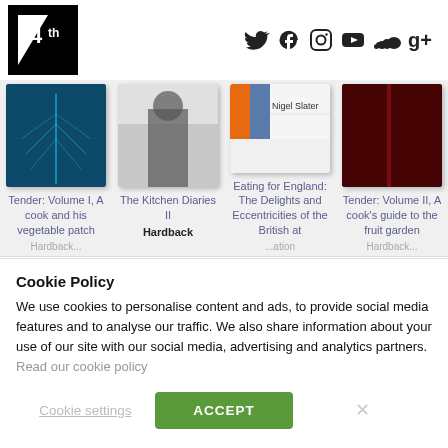[Figure (screenshot): Website header with 4th Estate publisher logo (black square with white '4th' text) on the left, and social media icons (Twitter, Facebook, Instagram, YouTube, SoundCloud, Google+) on the right]
[Figure (screenshot): Book grid showing four book covers: Tender Volume I (blue-green vegetable image), The Kitchen Diaries II (grey cover), Eating for England (orange and grey cover), Tender Volume II (dark red cover)]
Tender: Volume I, A cook and his vegetable patch
The Kitchen Diaries II
Hardback
Eating for England: The Delights and Eccentricities of the British at
Tender: Volume II, A cook's guide to the fruit garden
Cookie Policy
We use cookies to personalise content and ads, to provide social media features and to analyse our traffic. We also share information about your use of our site with our social media, advertising and analytics partners. Read our cookie policy